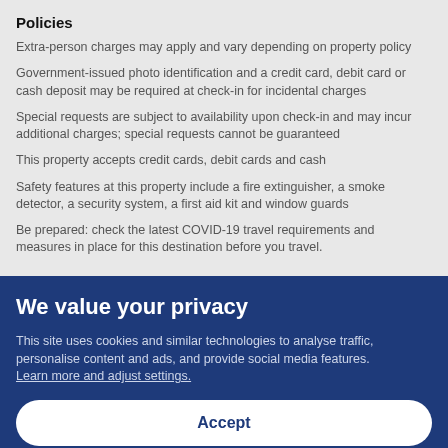Policies
Extra-person charges may apply and vary depending on property policy
Government-issued photo identification and a credit card, debit card or cash deposit may be required at check-in for incidental charges
Special requests are subject to availability upon check-in and may incur additional charges; special requests cannot be guaranteed
This property accepts credit cards, debit cards and cash
Safety features at this property include a fire extinguisher, a smoke detector, a security system, a first aid kit and window guards
Be prepared: check the latest COVID-19 travel requirements and measures in place for this destination before you travel.
We value your privacy
This site uses cookies and similar technologies to analyse traffic, personalise content and ads, and provide social media features. Learn more and adjust settings.
Accept